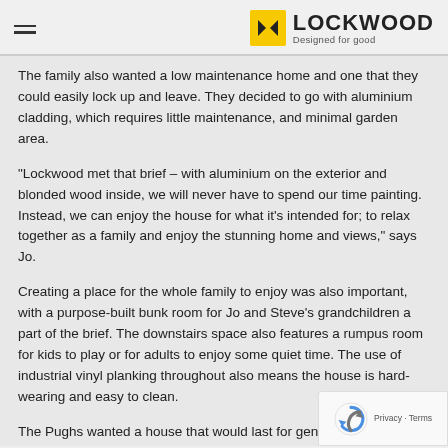LOCKWOOD — Designed for good
The family also wanted a low maintenance home and one that they could easily lock up and leave. They decided to go with aluminium cladding, which requires little maintenance, and minimal garden area.
“Lockwood met that brief – with aluminium on the exterior and blonded wood inside, we will never have to spend our time painting. Instead, we can enjoy the house for what it’s intended for; to relax together as a family and enjoy the stunning home and views,” says Jo.
Creating a place for the whole family to enjoy was also important, with a purpose-built bunk room for Jo and Steve’s grandchildren a part of the brief. The downstairs space also features a rumpus room for kids to play or for adults to enjoy some quiet time. The use of industrial vinyl planking throughout also means the house is hard-wearing and easy to clean.
The Pughs wanted a house that would last for generations, and the knew a Lockwood would stand the test of time. Jo says the house h exceeded their expectations, and the process of building with